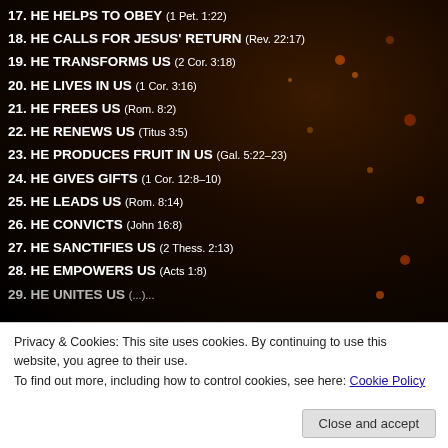17. HE HELPS TO OBEY (1 Pet. 1:22)
18. HE CALLS FOR JESUS' RETURN (Rev. 22:17)
19. HE TRANSFORMS US (2 Cor. 3:18)
20. HE LIVES IN US (1 Cor. 3:16)
21. HE FREES US (Rom. 8:2)
22. HE RENEWS US (Titus 3:5)
23. HE PRODUCES FRUIT IN US (Gal. 5:22-23)
24. HE GIVES GIFTS (1 Cor. 12:8-10)
25. HE LEADS US (Rom. 8:14)
26. HE CONVICTS (John 16:8)
27. HE SANCTIFIES US (2 Thess. 2:13)
28. HE EMPOWERS US (Acts 1:8)
29. HE UNITES US (...)
Privacy & Cookies: This site uses cookies. By continuing to use this website, you agree to their use. To find out more, including how to control cookies, see here: Cookie Policy
Close and accept